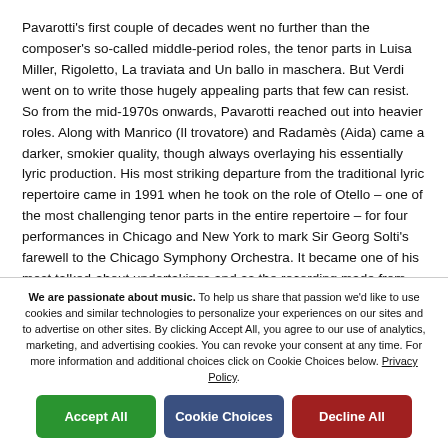Pavarotti's first couple of decades went no further than the composer's so-called middle-period roles, the tenor parts in Luisa Miller, Rigoletto, La traviata and Un ballo in maschera. But Verdi went on to write those hugely appealing parts that few can resist. So from the mid-1970s onwards, Pavarotti reached out into heavier roles. Along with Manrico (Il trovatore) and Radamès (Aida) came a darker, smokier quality, though always overlaying his essentially lyric production. His most striking departure from the traditional lyric repertoire came in 1991 when he took on the role of Otello – one of the most challenging tenor parts in the entire repertoire – for four performances in Chicago and New York to mark Sir Georg Solti's farewell to the Chicago Symphony Orchestra. It became one of his most talked-about undertakings and as the recording made from those live concerts demonstrates, there is much of the role that can
We are passionate about music. To help us share that passion we'd like to use cookies and similar technologies to personalize your experiences on our sites and to advertise on other sites. By clicking Accept All, you agree to our use of analytics, marketing, and advertising cookies. You can revoke your consent at any time. For more information and additional choices click on Cookie Choices below. Privacy Policy.